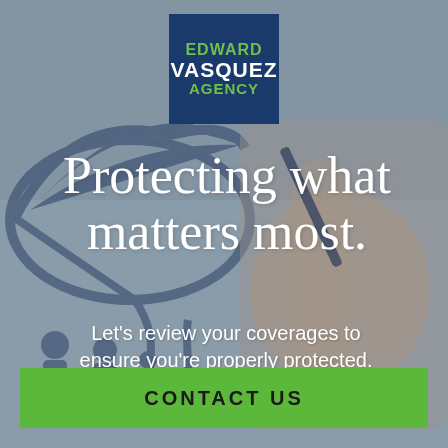[Figure (illustration): Background photo of a hand holding a pen writing on a glass surface, with dark blue umbrella and family silhouettes illustration overlaid on a grey background]
[Figure (logo): Edward Vasquez Agency logo — dark blue square with 'EDWARD' in green, 'VASQUEZ' in white bold, 'AGENCY' in green]
Protecting what matters most.
Let's review your coverages to ensure you're properly protected.
CONTACT US